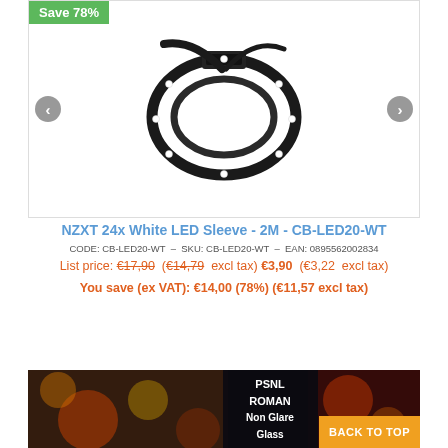[Figure (photo): NZXT 24x White LED Sleeve product image showing a coiled black cable with white LED lights, on white background. Navigation arrows on left and right. Save 78% badge in top-left corner.]
NZXT 24x White LED Sleeve - 2M - CB-LED20-WT
CODE: CB-LED20-WT  -  SKU: CB-LED20-WT  -  EAN: 0895562002834
List price: €17,90  (€14,79  excl tax) €3,90  (€3,22  excl tax)
You save (ex VAT): €14,00 (78%) (€11,57 excl tax)
[Figure (photo): Bottom banner showing a pinball machine interior lit up with colorful lights. Text overlay: PSNL ROMAN Non Glare Glass. Orange BACK TO TOP button on the right.]